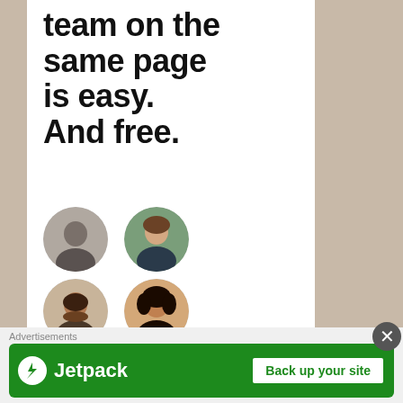team on the same page is easy. And free.
[Figure (illustration): Six circular avatar photos of diverse team members arranged in a 2-column grid (3 rows). The sixth slot is a blue circle with a white plus sign, indicating adding more members.]
Advertisements
[Figure (logo): Jetpack advertisement banner with green background. Shows Jetpack logo (lightning bolt icon in white circle) and 'Jetpack' text in white on left, and 'Back up your site' button with white background and green text on right.]